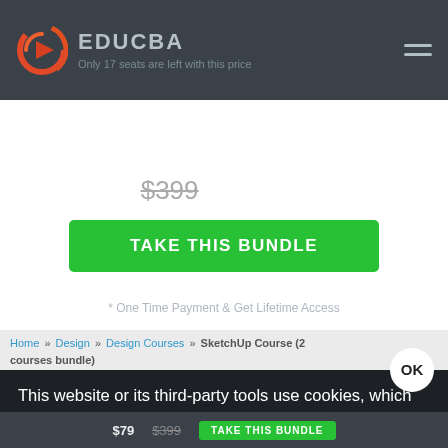[Figure (logo): EDUCBA logo — orange/red circular play button icon with the text EDUCBA and tagline 'Only 17 seats are left with this price']
$79
$399  80% Off
TAKE THIS BUNDLE
* One Time Payment & Get Lifetime Access
Home » Design » Design Courses » SketchUp Course (2 Courses Bundle)
This website or its third-party tools use cookies, which are necessary to its functioning and required to achieve the purposes illustrated in the cookie policy. By closing this banner, scrolling this page, clicking a link or continuing to browse otherwise, you agree to our Privacy Policy
$79  $399  TAKE THIS BUNDLE